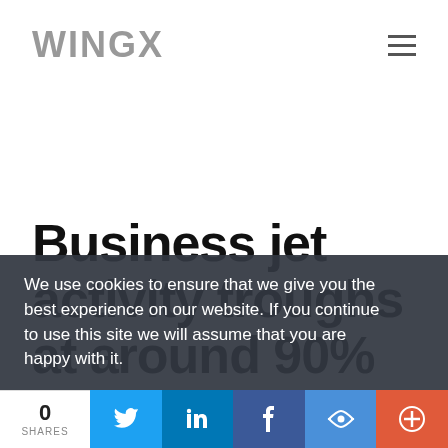WINGX
Business jet activity troughs at around 90% below year-on-year
We use cookies to ensure that we give you the best experience on our website. If you continue to use this site we will assume that you are happy with it.
0 SHARES